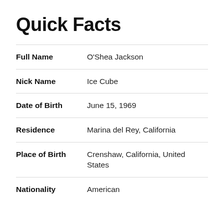Quick Facts
| Field | Value |
| --- | --- |
| Full Name | O'Shea Jackson |
| Nick Name | Ice Cube |
| Date of Birth | June 15, 1969 |
| Residence | Marina del Rey, California |
| Place of Birth | Crenshaw, California, United States |
| Nationality | American |